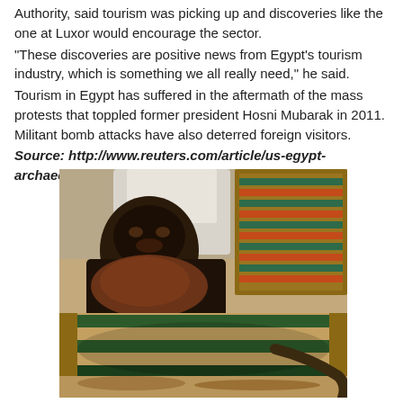Authority, said tourism was picking up and discoveries like the one at Luxor would encourage the sector.
"These discoveries are positive news from Egypt's tourism industry, which is something we all really need," he said.
Tourism in Egypt has suffered in the aftermath of the mass protests that toppled former president Hosni Mubarak in 2011. Militant bomb attacks have also deterred foreign visitors.
Source: http://www.reuters.com/article/us-egypt-archaeology-discovery-idUSKBN17K1VW
[Figure (photo): Photograph of an ancient Egyptian mummy inside a decorated wooden sarcophagus. The mummy is partially unwrapped, showing dark preserved remains with colorful striped green and yellow painted wrappings visible on the lower portion. A person in white clothing is visible in the background. The sarcophagus has colorful painted decorations in green, blue, and orange tones.]